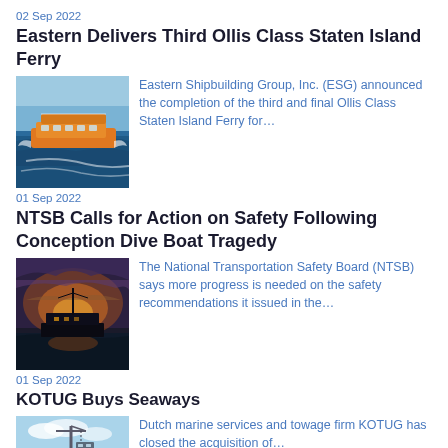02 Sep 2022
Eastern Delivers Third Ollis Class Staten Island Ferry
[Figure (photo): Orange Staten Island Ferry boat speeding across blue water, aerial view]
Eastern Shipbuilding Group, Inc. (ESG) announced the completion of the third and final Ollis Class Staten Island Ferry for…
01 Sep 2022
NTSB Calls for Action on Safety Following Conception Dive Boat Tragedy
[Figure (photo): A dive boat silhouetted against a dramatic sunset sky over water]
The National Transportation Safety Board (NTSB) says more progress is needed on the safety recommendations it issued in the…
01 Sep 2022
KOTUG Buys Seaways
[Figure (photo): Ship or tugboat with crane visible against blue sky]
Dutch marine services and towage firm KOTUG has closed the acquisition of…